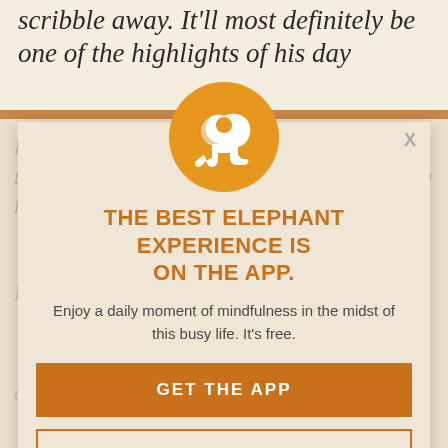scribble away. It'll most definitely be one of the highlights of his day
[Figure (infographic): App promotion modal overlay with elephant logo circle, headline, description text, and two call-to-action buttons on a warm beige background with faded article text behind]
THE BEST ELEPHANT EXPERIENCE IS ON THE APP.
Enjoy a daily moment of mindfulness in the midst of this busy life. It's free.
GET THE APP
OPEN IN APP